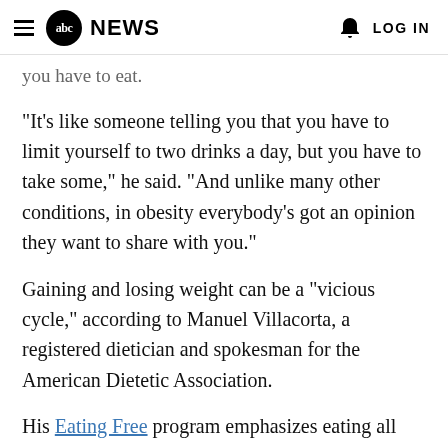abc NEWS  LOG IN
you have to eat.
"It's like someone telling you that you have to limit yourself to two drinks a day, but you have to take some," he said. "And unlike many other conditions, in obesity everybody's got an opinion they want to share with you."
Gaining and losing weight can be a "vicious cycle," according to Manuel Villacorta, a registered dietician and spokesman for the American Dietetic Association.
His Eating Free program emphasizes eating all foods, but learning how to balance food types,